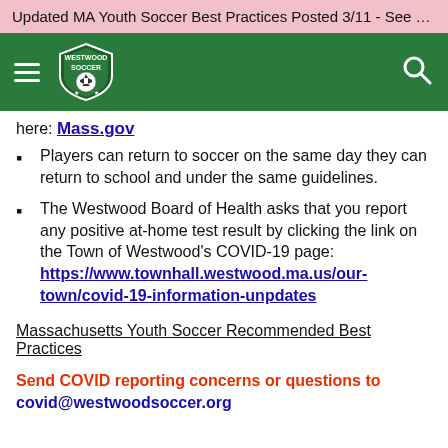Updated MA Youth Soccer Best Practices Posted 3/11 - See CO...
[Figure (logo): Westwood Soccer club logo on green navigation bar with hamburger menu and search icon]
here: Mass.gov
Players can return to soccer on the same day they can return to school and under the same guidelines.
The Westwood Board of Health asks that you report any positive at-home test result by clicking the link on the Town of Westwood's COVID-19 page: https://www.townhall.westwood.ma.us/our-town/covid-19-information-unpdates
Massachusetts Youth Soccer Recommended Best Practices
Send COVID reporting concerns or questions to covid@westwoodsoccer.org